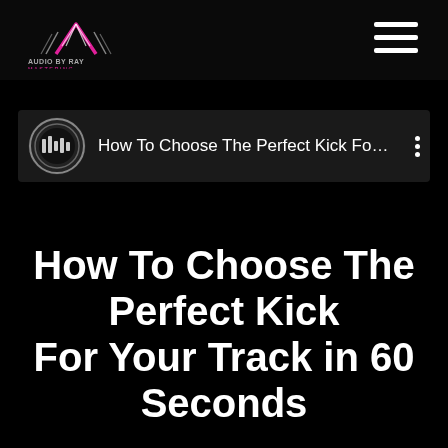[Figure (logo): Audio By Ray Mastering logo — triangular waveform icon in pink/white with text 'AUDIO BY RAY MASTERING' below]
[Figure (other): Hamburger menu icon — three white horizontal bars]
[Figure (other): Video row: circular thumbnail with waveform/equalizer graphic, title text 'How To Choose The Perfect Kick Fo…', three-dot menu]
How To Choose The Perfect Kick For Your Track in 60 Seconds